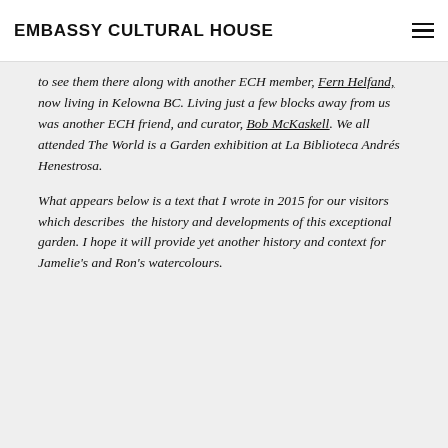EMBASSY CULTURAL HOUSE
to see them there along with another ECH member, Fern Helfand, now living in Kelowna BC. Living just a few blocks away from us was another ECH friend, and curator, Bob McKaskell. We all attended The World is a Garden exhibition at La Biblioteca Andrés Henestrosa.
What appears below is a text that I wrote in 2015 for our visitors which describes the history and developments of this exceptional garden. I hope it will provide yet another history and context for Jamelie's and Ron's watercolours.